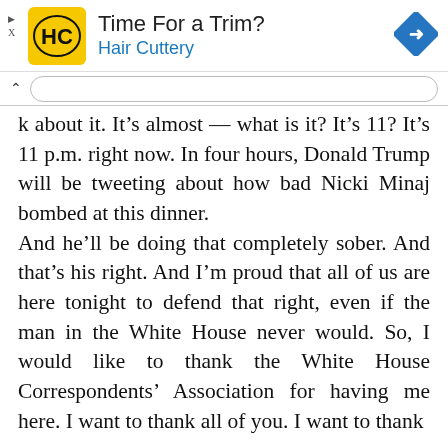[Figure (screenshot): Hair Cuttery advertisement banner with logo, title 'Time For a Trim?', subtitle 'Hair Cuttery', and a blue navigation diamond icon on the right.]
k about it. It’s almost — what is it? It’s 11? It’s 11 p.m. right now. In four hours, Donald Trump will be tweeting about how bad Nicki Minaj bombed at this dinner.
And he’ll be doing that completely sober. And that’s his right. And I’m proud that all of us are here tonight to defend that right, even if the man in the White House never would. So, I would like to thank the White House Correspondents’ Association for having me here. I want to thank all of you. I want to thank W... [text continues]